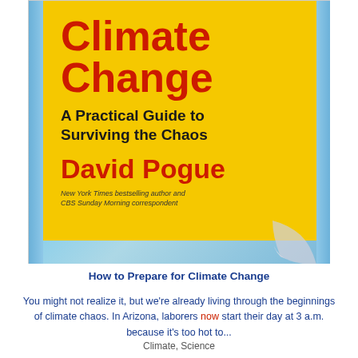[Figure (illustration): Book cover for 'Climate Change: A Practical Guide to Surviving the Chaos' by David Pogue. Yellow panel over blue sky/clouds background with page curl at bottom right. Title in large red bold text, subtitle in dark bold text, author name in large red bold text, with italic descriptor text beneath author name.]
How to Prepare for Climate Change
You might not realize it, but we're already living through the beginnings of climate chaos. In Arizona, laborers now start their day at 3 a.m. because it's too hot to...
Climate, Science